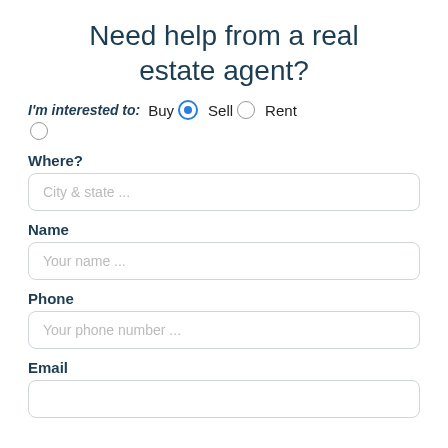Need help from a real estate agent?
I'm interested to: Buy (selected) Sell Rent
Where?
City & state ...
Name
Your name ...
Phone
Your phone number ...
Email